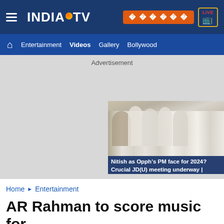INDIA TV
Entertainment  Videos  Gallery  Bollywood
Advertisement
[Figure (screenshot): Video thumbnail showing people in white kurtas at a meeting, with caption: Nitish as Opph's PM face for 2024? Crucial JD(U) meeting underway |]
Home ► Entertainment
AR Rahman to score music for